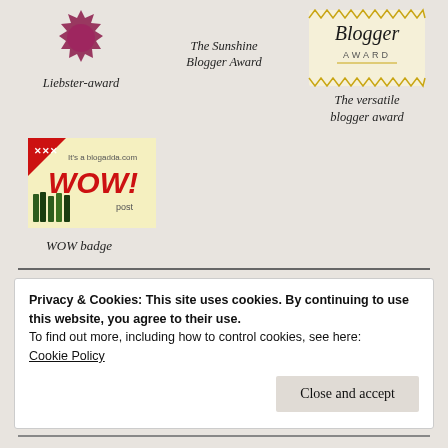[Figure (illustration): Liebster award badge - pink/dark red starburst seal shape at top]
Liebster-award
The Sunshine Blogger Award
[Figure (illustration): Versatile Blogger Award badge - gold zigzag border with script text]
The versatile blogger award
[Figure (illustration): WOW badge from blogadda.com - cream background with pencils and red WOW! text]
WOW badge
Privacy & Cookies: This site uses cookies. By continuing to use this website, you agree to their use.
To find out more, including how to control cookies, see here:
Cookie Policy
Close and accept